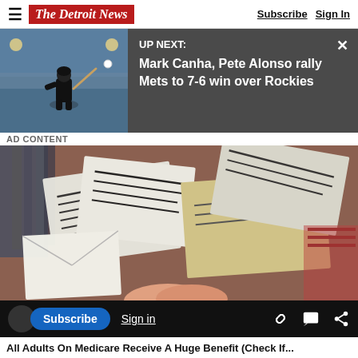The Detroit News — Subscribe | Sign In
UP NEXT: Mark Canha, Pete Alonso rally Mets to 7-6 win over Rockies
AD CONTENT
[Figure (photo): Scattered mail and documents on a surface]
This article is free to the community. $1 for 6 Months. Subscribe now
All Adults On Medicare Receive A Huge Benefit (Check If...